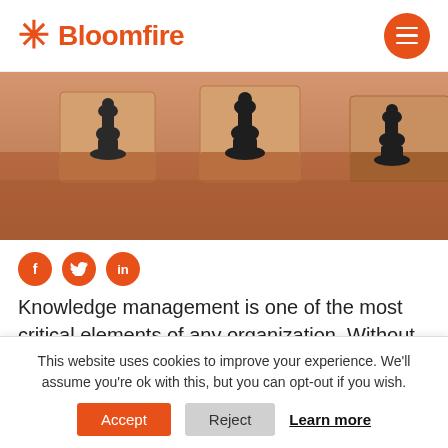Bloomfire
[Figure (photo): Wooden blocks with chess piece silhouettes on an orange-brown wooden surface, viewed from a low angle.]
[Figure (infographic): Three orange circular social media icons: Facebook (f), Twitter (bird), LinkedIn (in)]
Knowledge management is one of the most critical elements of any organization. Without effectively documenting, sharing, and retaining the knowledge within your business, it's nearly
This website uses cookies to improve your experience. We'll assume you're ok with this, but you can opt-out if you wish.
Accept   Reject   Learn more